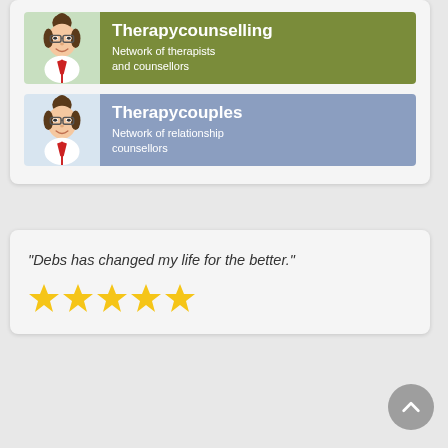[Figure (illustration): Card containing two service banners: Therapycounselling (olive green background, cartoon female avatar, subtitle: Network of therapists and counsellors) and Therapycouples (steel blue background, cartoon female avatar, subtitle: Network of relationship counsellors)]
"Debs has changed my life for the better."
[Figure (infographic): Five yellow star rating icons]
[Figure (illustration): Grey circular scroll-to-top button with upward chevron arrow]